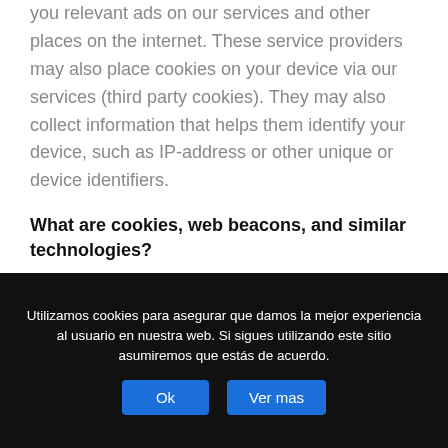you relevant ads on our services and other places on the internet. These service providers may also place cookies on your device via our services (third party cookies). They may also collect information that helps them identify your device, such as IP-address or other unique or device identifiers.
What are cookies, web beacons, and similar technologies?
Like most sites, we use technologies that are essentially small data files placed on your computer, tablet, mobile phone, or other devices (referred to collectively as a
Utilizamos cookies para asegurar que damos la mejor experiencia al usuario en nuestra web. Si sigues utilizando este sitio asumiremos que estás de acuerdo.